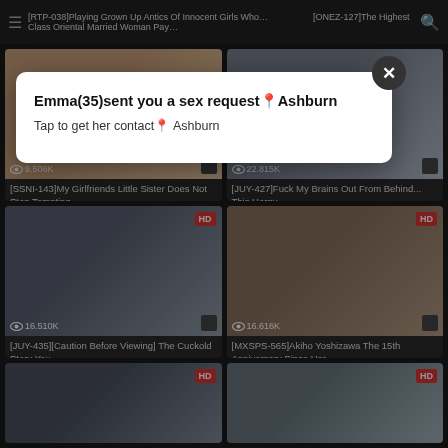[Figure (screenshot): Adult video website screenshot showing a grid of video thumbnails with titles, view counts, and HD badges. A modal popup overlay is displayed showing 'Emma(35)sent you a sex request📍Ashburn / Tap to get her contact📍 Ashburn'. Video titles visible include: [RTP-038]Playing Grown Up Antics Of Innocent Girls Who..., [ONEZ-127]The Highest Class Oriental Married Woman Pay..., [SSNI-143]My Girlfriends Little Sister Does Not Stop Tempting (9.506K views), [JUY-427]Fuck My Brains Out From Behind... This Horny (22.815K views), [JUY-435][Caution Before Viewing] The Cuckold Story You (16.510K views), [MXSPS-565]Akiho Yoshizawa The 15th Anniversary Since Her (16.616K views), and two more partial cards at the bottom.]